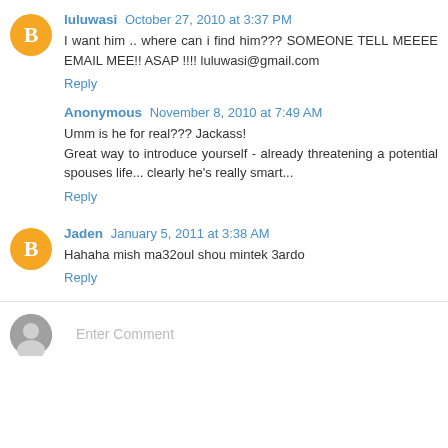luluwasi October 27, 2010 at 3:37 PM
I want him .. where can i find him??? SOMEONE TELL MEEEE EMAIL MEE!! ASAP !!!! luluwasi@gmail.com
Reply
Anonymous November 8, 2010 at 7:49 AM
Umm is he for real??? Jackass!
Great way to introduce yourself - already threatening a potential spouses life... clearly he's really smart...
Reply
Jaden January 5, 2011 at 3:38 AM
Hahaha mish ma32oul shou mintek 3ardo
Reply
Enter Comment